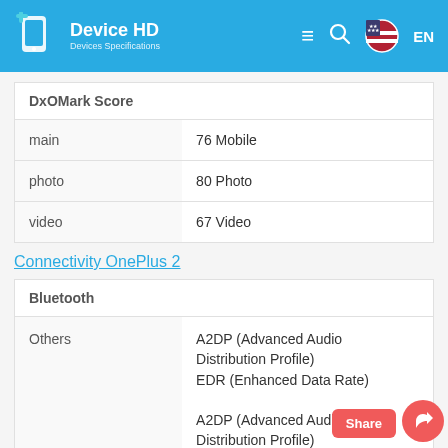Device HD — Devices Specifications | EN
| DxOMark Score |  |
| --- | --- |
| main | 76 Mobile |
| photo | 80 Photo |
| video | 67 Video |
Connectivity OnePlus 2
| Bluetooth |  |
| --- | --- |
| Others | A2DP (Advanced Audio Distribution Profile)
EDR (Enhanced Data Rate)

A2DP (Advanced Audio Distribution Profile)
AVRCP (Audio/Visual Remote |